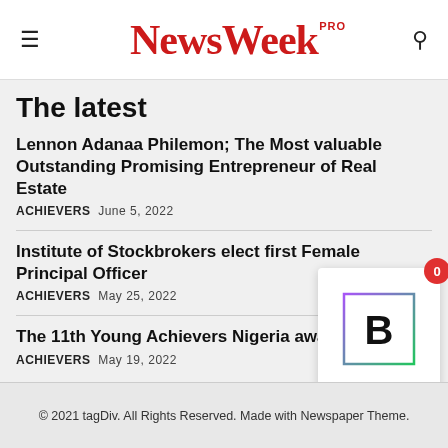NewsWeek PRO
The latest
Lennon Adanaa Philemon; The Most valuable Outstanding Promising Entrepreneur of Real Estate
ACHIEVERS  June 5, 2022
Institute of Stockbrokers elect first Female Principal Officer
ACHIEVERS  May 25, 2022
The 11th Young Achievers Nigeria award
ACHIEVERS  May 19, 2022
[Figure (other): Widget box with letter B and notification badge showing 0]
© 2021 tagDiv. All Rights Reserved. Made with Newspaper Theme.